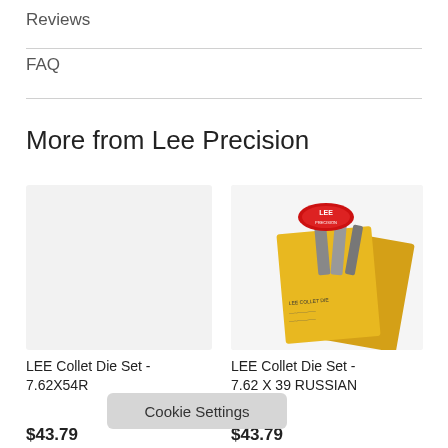Reviews
FAQ
More from Lee Precision
[Figure (photo): Left product card - empty light gray placeholder image for LEE Collet Die Set 7.62X54R]
[Figure (photo): Right product card - Lee Precision collet die set product in yellow/gold packaging with logo]
LEE Collet Die Set - 7.62X54R
LEE Collet Die Set - 7.62 X 39 RUSSIAN
$43.79
$43.79
Cookie Settings